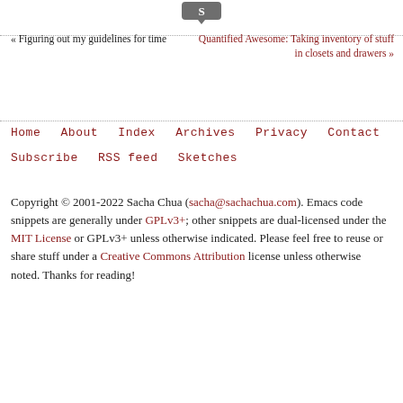[Figure (logo): Partial logo icon (dark grey speech bubble / chat icon) at top center]
« Figuring out my guidelines for time
Quantified Awesome: Taking inventory of stuff in closets and drawers »
Home   About   Index   Archives   Privacy   Contact
Subscribe   RSS feed   Sketches
Copyright © 2001-2022 Sacha Chua (sacha@sachachua.com). Emacs code snippets are generally under GPLv3+; other snippets are dual-licensed under the MIT License or GPLv3+ unless otherwise indicated. Please feel free to reuse or share stuff under a Creative Commons Attribution license unless otherwise noted. Thanks for reading!